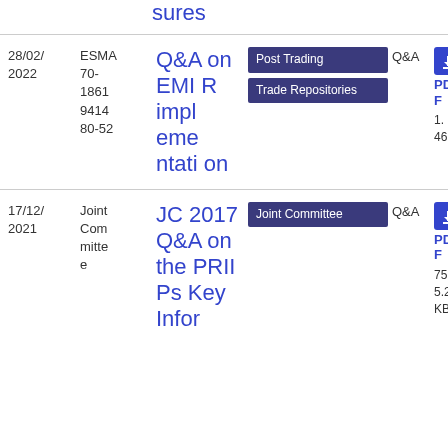sures
| Date | Reference | Title | Tags | Type | Download |
| --- | --- | --- | --- | --- | --- |
| 28/02/2022 | ESMA70-186194148 0-52 | Q&A on EMIR implementation | Post Trading, Trade Repositories | Q&A | PDF 1.46 MB |
| 17/12/2021 | Joint Committee | JC 2017 Q&A on the PRIIPs Key Infor | Joint Committee | Q&A | PDF 75 5.23 KB |